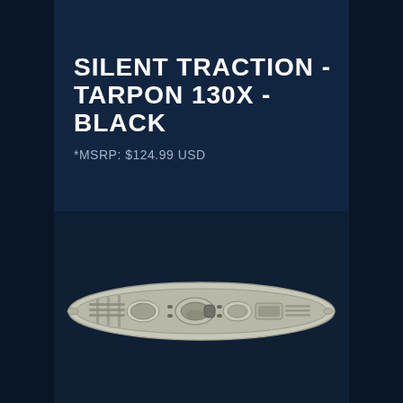SILENT TRACTION - TARPON 130X - BLACK
*MSRP: $124.99 USD
[Figure (photo): Top-down view of a white/silver kayak (Wilderness Systems Tarpon 130X) on a dark navy background, showing the deck layout with seating, hatches, and hull design.]